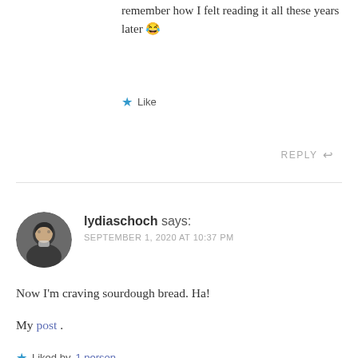remember how I felt reading it all these years later 😂
★ Like
REPLY ↩
lydiaschoch says: SEPTEMBER 1, 2020 AT 10:37 PM
Now I'm craving sourdough bread. Ha!
My post .
★ Liked by 1 person
REPLY ↩